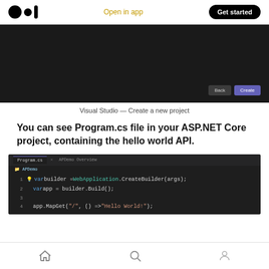Medium logo | Open in app | Get started
[Figure (screenshot): Visual Studio dark dialog showing 'Back' and 'Create' buttons in the lower right]
Visual Studio — Create a new project
You can see Program.cs file in your ASP.NET Core project, containing the hello world API.
[Figure (screenshot): Visual Studio Code editor showing Program.cs with ASP.NET Core hello world code: var builder = WebApplication.CreateBuilder(args); var app = builder.Build(); app.MapGet("/", () => "Hello World!");]
Home | Search | Profile navigation icons